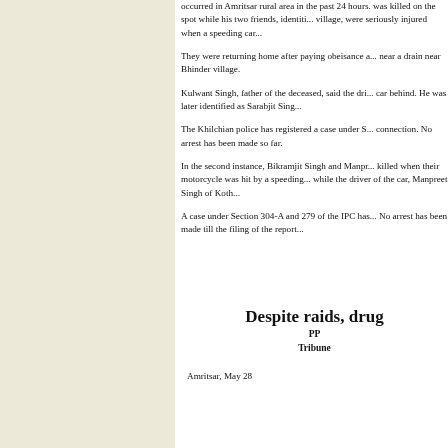occurred in Amritsar rural area in the past 24 hours. was killed on the spot while his two friends, identifi... village, were seriously injured when a speeding car...
They were returning home after paying obeisance a... near a drain near Bhinder village.
Kulwant Singh, father of the deceased, said the dri... car behind. He was later identified as Sarabjit Sing...
The Khilchian police has registered a case under S... connection. No arrest has been made so far.
In the second instance, Bikramjit Singh and Manpr... killed when their motorcycle was hit by a speeding... while the driver of the car, Manpreet Singh of Koth...
A case under Section 304-A and 279 of the IPC has... No arrest has been made till the filing of the report...
Despite raids, drug
PP... Tribune...
Amritsar, May 28